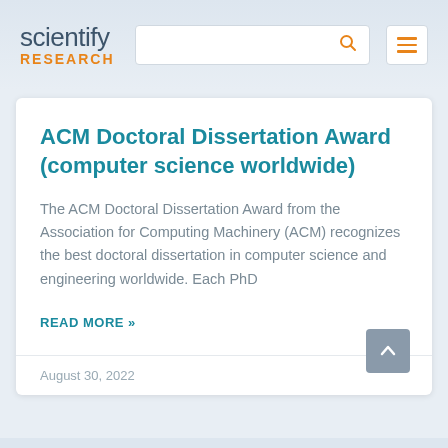scientify RESEARCH
ACM Doctoral Dissertation Award (computer science worldwide)
The ACM Doctoral Dissertation Award from the Association for Computing Machinery (ACM) recognizes the best doctoral dissertation in computer science and engineering worldwide. Each PhD
READ MORE »
August 30, 2022